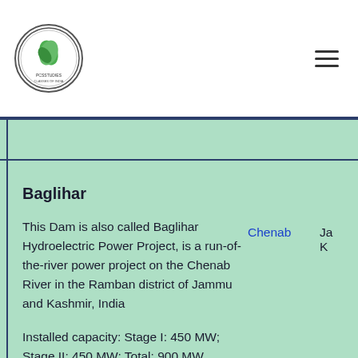[Figure (logo): Circular logo with green leaf design and text around the border]
Baglihar
This Dam is also called Baglihar Hydroelectric Power Project, is a run-of-the-river power project on the Chenab River in the Ramban district of Jammu and Kashmir, India
Installed capacity: Stage I: 450 MW; Stage II: 450 MW; Total: 900 MW